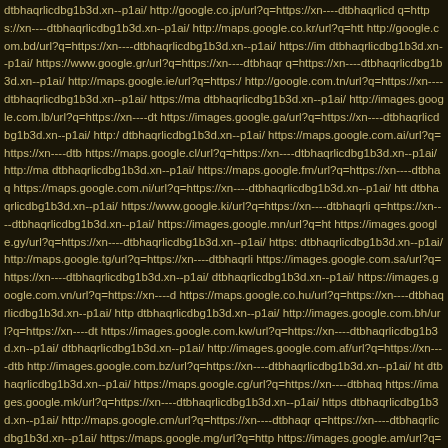dtbhaqrlicdbg1b3d.xn--p1ai/ http://google.co.jp/url?q=https://xn----dtbhaqrlicd q=https://xn----dtbhaqrlicdbg1b3d.xn--p1ai/ http://maps.google.co.kr/url?q=htt http://google.com.bd/url?q=https://xn----dtbhaqrlicdbg1b3d.xn--p1ai/ https://im dtbhaqrlicdbg1b3d.xn--p1ai/ https://www.google.gr/url?q=https://xn----dtbhaqr q=https://xn----dtbhaqrlicdbg1b3d.xn--p1ai/ http://maps.google.ie/url?q=https:/ http://google.com.tn/url?q=https://xn----dtbhaqrlicdbg1b3d.xn--p1ai/ https://ma dtbhaqrlicdbg1b3d.xn--p1ai/ http://images.google.com.lb/url?q=https://xn----dt https://images.google.ga/url?q=https://xn----dtbhaqrlicdbg1b3d.xn--p1ai/ http:/ dtbhaqrlicdbg1b3d.xn--p1ai/ https://maps.google.com.ai/url?q=https://xn----dtb https://maps.google.cl/url?q=https://xn----dtbhaqrlicdbg1b3d.xn--p1ai/ http://ma dtbhaqrlicdbg1b3d.xn--p1ai/ https://maps.google.fm/url?q=https://xn----dtbhaq https://maps.google.com.ni/url?q=https://xn----dtbhaqrlicdbg1b3d.xn--p1ai/ htt dtbhaqrlicdbg1b3d.xn--p1ai/ https://www.google.ki/url?q=https://xn----dtbhaqrli q=https://xn----dtbhaqrlicdbg1b3d.xn--p1ai/ https://images.google.mn/url?q=ht https://images.google.gy/url?q=https://xn----dtbhaqrlicdbg1b3d.xn--p1ai/ https: dtbhaqrlicdbg1b3d.xn--p1ai/ http://maps.google.tg/url?q=https://xn----dtbhaqrli https://images.google.com.sa/url?q=https://xn----dtbhaqrlicdbg1b3d.xn--p1ai/ dtbhaqrlicdbg1b3d.xn--p1ai/ https://images.google.com.vn/url?q=https://xn----d https://maps.google.co.hu/url?q=https://xn----dtbhaqrlicdbg1b3d.xn--p1ai/ http dtbhaqrlicdbg1b3d.xn--p1ai/ http://images.google.com.bh/url?q=https://xn----dt https://images.google.com.kw/url?q=https://xn----dtbhaqrlicdbg1b3d.xn--p1ai/ dtbhaqrlicdbg1b3d.xn--p1ai/ http://images.google.com.af/url?q=https://xn----dtb http://images.google.com.bz/url?q=https://xn----dtbhaqrlicdbg1b3d.xn--p1ai/ ht dtbhaqrlicdbg1b3d.xn--p1ai/ https://maps.google.cg/url?q=https://xn----dtbhaq https://images.google.mk/url?q=https://xn----dtbhaqrlicdbg1b3d.xn--p1ai/ https dtbhaqrlicdbg1b3d.xn--p1ai/ http://maps.google.cm/url?q=https://xn----dtbhaqr q=https://xn----dtbhaqrlicdbg1b3d.xn--p1ai/ https://maps.google.mg/url?q=http https://images.google.am/url?q=https://xn----dtbhaqrlicdbg1b3d.xn--p1ai/ https dtbhaqrlicdbg1b3d.xn--p1ai/ https://images.google.co.id/url?q=https://xn----dtb https://maps.google.com.bd/url?q=https://xn----dtbhaqrlicdbg1b3d.xn--p1ai/ htt dtbhaqrlicdbg1b3d.xn--p1ai/ http://images.google.com.ai/url?q=https://xn----dt http://images.google.bf/url?q=https://xn----dtbhaqrlicdbg1b3d.xn--p1ai/ http://